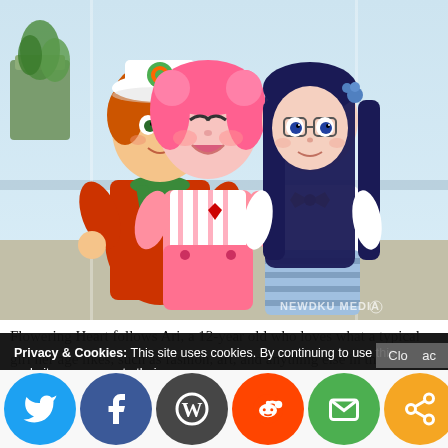[Figure (illustration): Anime-style illustration of three chibi characters: a boy with orange hair and a white/green hat wearing an orange vest on the left, a girl with pink hair in a pink striped outfit in the center, and a girl with long dark blue hair and glasses in a white shirt and blue skirt on the right. Watermark reads 'NEWDKU MEDIA' in the bottom right corner. Background shows a rooftop or outdoor setting.]
Flowering Heart follows Ari, a 12-year old who loves what a typical girl her age likes, such as fashion, art, and anything else in the spectrum–if it wasn't obvious from the massive amount of pink she wears. She's followed by her friends Min and Suha, who all eventually gain magical
Privacy & Cookies: This site uses cookies. By continuing to use this website, you agree to their use.
To find out more, including how to control cookies, see here: Cookie Policy